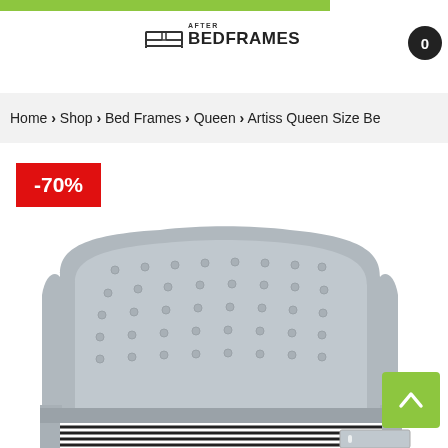[Figure (logo): After Bedframes logo with bed icon and text]
Home > Shop > Bed Frames > Queen > Artiss Queen Size Be
-70%
[Figure (photo): Grey tufted wingback queen bed frame with black and white striped slats visible, no mattress]